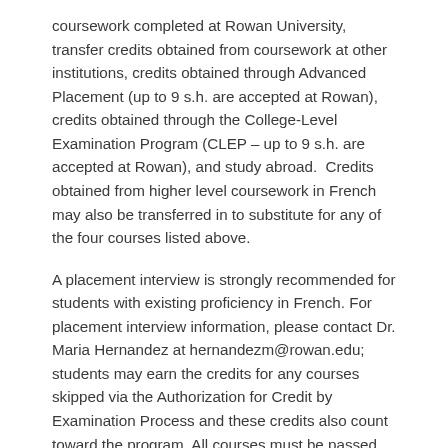coursework completed at Rowan University, transfer credits obtained from coursework at other institutions, credits obtained through Advanced Placement (up to 9 s.h. are accepted at Rowan), credits obtained through the College-Level Examination Program (CLEP – up to 9 s.h. are accepted at Rowan), and study abroad.  Credits obtained from higher level coursework in French may also be transferred in to substitute for any of the four courses listed above.
A placement interview is strongly recommended for students with existing proficiency in French. For placement interview information, please contact Dr. Maria Hernandez at hernandezm@rowan.edu; students may earn the credits for any courses skipped via the Authorization for Credit by Examination Process and these credits also count toward the program. All courses must be passed with a letter grade of "C-" or better and no courses may be taken P/NC. Students planning to Study Abroad must meet with the Advisor in order to determine course equivalents.